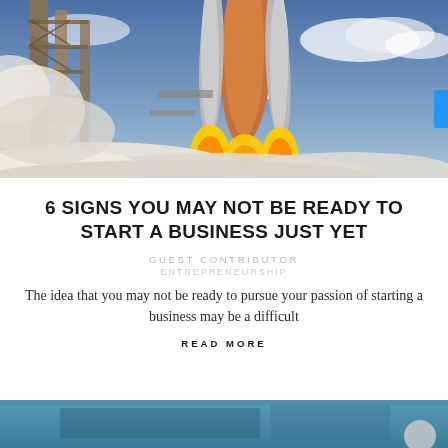[Figure (photo): Space shuttle launch with flames and smoke, against a blue sky with scaffolding visible]
6 SIGNS YOU MAY NOT BE READY TO START A BUSINESS JUST YET
GUEST CONTRIBUTOR
ENTREPRENEURSHIP
The idea that you may not be ready to pursue your passion of starting a business may be a difficult
READ MORE
[Figure (photo): Partial bottom image, appears to be a building or architectural scene with teal/blue tones]